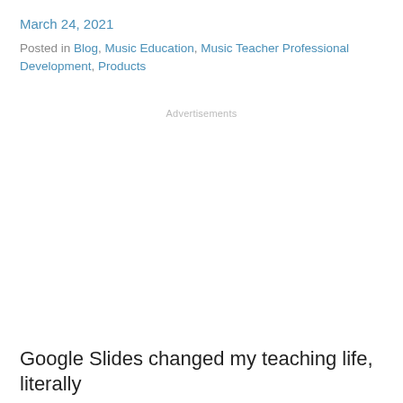March 24, 2021
Posted in Blog, Music Education, Music Teacher Professional Development, Products
Advertisements
Google Slides changed my teaching life, literally